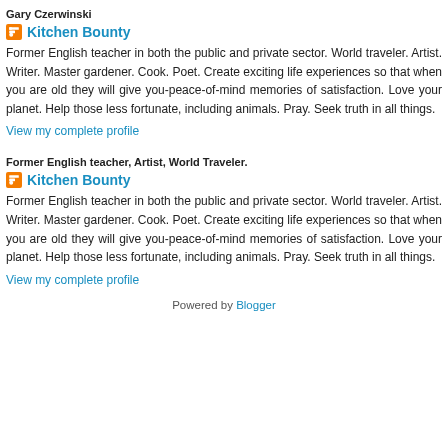Gary Czerwinski
Kitchen Bounty
Former English teacher in both the public and private sector. World traveler. Artist. Writer. Master gardener. Cook. Poet. Create exciting life experiences so that when you are old they will give you-peace-of-mind memories of satisfaction. Love your planet. Help those less fortunate, including animals. Pray. Seek truth in all things.
View my complete profile
Former English teacher, Artist, World Traveler.
Kitchen Bounty
Former English teacher in both the public and private sector. World traveler. Artist. Writer. Master gardener. Cook. Poet. Create exciting life experiences so that when you are old they will give you-peace-of-mind memories of satisfaction. Love your planet. Help those less fortunate, including animals. Pray. Seek truth in all things.
View my complete profile
Powered by Blogger